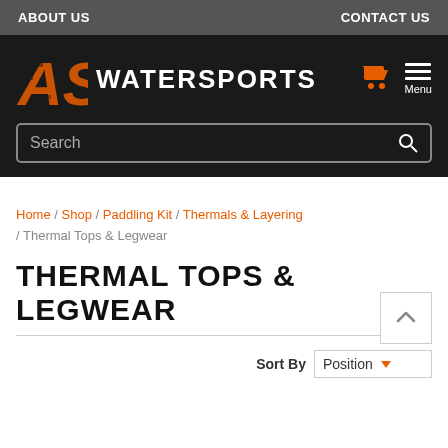ABOUT US   CONTACT US
[Figure (logo): AS Watersports logo with orange distressed AS letters and white WATERSPORTS text on black background, with cart icon and hamburger menu]
Search
Home / Shop / Paddling Kit / Thermals & Layering / Thermal Tops & Legwear
THERMAL TOPS & LEGWEAR
Sort By  Position